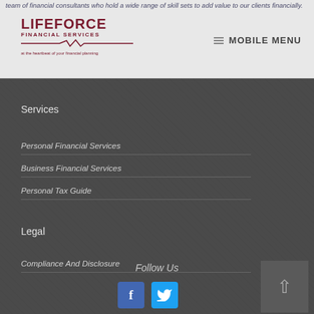team of financial consultants who hold a wide range of skill sets to add value to our clients financially.
[Figure (logo): Lifeforce Financial Services logo with heartbeat line and tagline 'at the heartbeat of your financial planning']
MOBILE MENU
Services
Personal Financial Services
Business Financial Services
Personal Tax Guide
Legal
Compliance And Disclosure
Follow Us
[Figure (illustration): Facebook and Twitter social media icons buttons]
[Figure (illustration): Back to top arrow button]